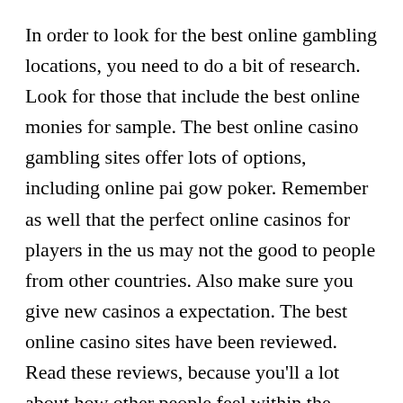In order to look for the best online gambling locations, you need to do a bit of research. Look for those that include the best online monies for sample. The best online casino gambling sites offer lots of options, including online pai gow poker. Remember as well that the perfect online casinos for players in the us may not the good to people from other countries. Also make sure you give new casinos a expectation. The best online casino sites have been reviewed. Read these reviews, because you'll a lot about how other people feel within the services being offered here and whether the casino is fair and legitimate. Never part having your money unless you want to are sure you can trust times.
Before you to all these places to find VIP Online...